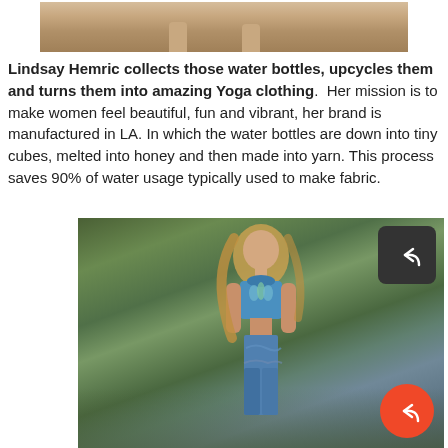[Figure (photo): Top portion of a photo showing feet/legs on sandy ground, cropped at top of page]
Lindsay Hemric collects those water bottles, upcycles them and turns them into amazing Yoga clothing. Her mission is to make women feel beautiful, fun and vibrant, her brand is manufactured in LA. In which the water bottles are down into tiny cubes, melted into honey and then made into yarn. This process saves 90% of water usage typically used to make fabric.
[Figure (photo): Woman with long blonde hair standing outdoors wearing blue patterned yoga crop top and matching leggings, surrounded by green foliage. A share button (dark rounded square with arrow icon) appears in top-right corner of photo.]